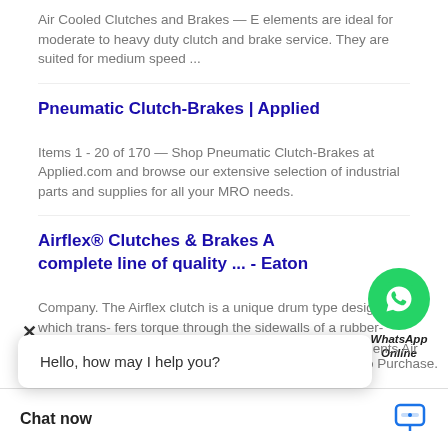Air Cooled Clutches and Brakes — E elements are ideal for moderate to heavy duty clutch and brake service. They are suited for medium speed ...
Pneumatic Clutch-Brakes | Applied
Items 1 - 20 of 170 — Shop Pneumatic Clutch-Brakes at Applied.com and browse our extensive selection of industrial parts and supplies for all your MRO needs.
Airflex® Clutches & Brakes A complete line of quality ... - Eaton
Company. The Airflex clutch is a unique drum type design which trans- fers torque through the sidewalls of a rubber-and-cord air actuating tube.
[Figure (screenshot): WhatsApp Online chat bubble with green phone icon and 'WhatsApp Online' label]
50 142644HA Elements Air Clutch ...
Hello, how may I help you?
Chat now
4HA Elements Air ... act Us to Purchase. ...